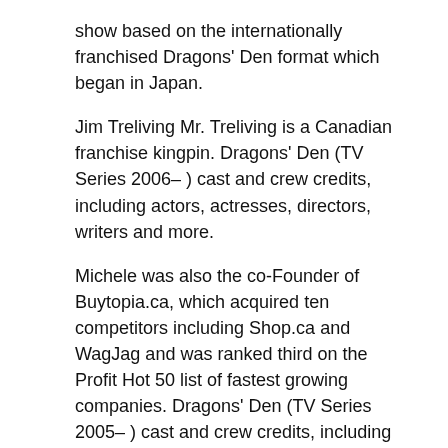show based on the internationally franchised Dragons' Den format which began in Japan.
Jim Treliving Mr. Treliving is a Canadian franchise kingpin. Dragons' Den (TV Series 2006– ) cast and crew credits, including actors, actresses, directors, writers and more.
Michele was also the co-Founder of Buytopia.ca, which acquired ten competitors including Shop.ca and WagJag and was ranked third on the Profit Hot 50 list of fastest growing companies. Dragons' Den (TV Series 2005– ) cast and crew credits, including actors, actresses, directors, writers and more.
The show allows several entrepreneurs an ...
Toothless Dragon Drawing, Jenna Are You The One Instagram, Kim's Convenience Season 4 Episode 13